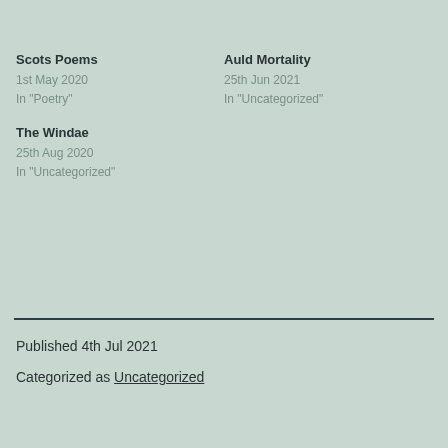Scots Poems
1st May 2020
In "Poetry"
Auld Mortality
25th Jun 2021
In "Uncategorized"
The Windae
25th Aug 2020
In "Uncategorized"
Published 4th Jul 2021
Categorized as Uncategorized